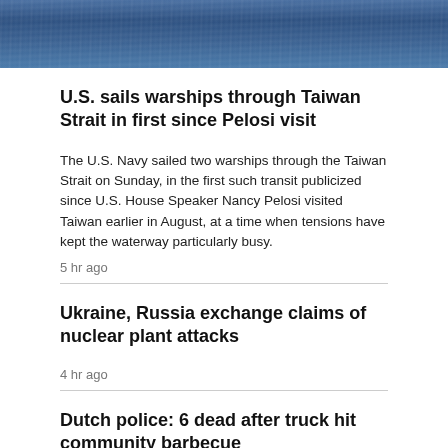[Figure (photo): Ocean/sea water surface viewed from above, dark blue color with wave texture patterns]
U.S. sails warships through Taiwan Strait in first since Pelosi visit
The U.S. Navy sailed two warships through the Taiwan Strait on Sunday, in the first such transit publicized since U.S. House Speaker Nancy Pelosi visited Taiwan earlier in August, at a time when tensions have kept the waterway particularly busy.
5 hr ago
Ukraine, Russia exchange claims of nuclear plant attacks
4 hr ago
Dutch police: 6 dead after truck hit community barbecue
7 hr ago